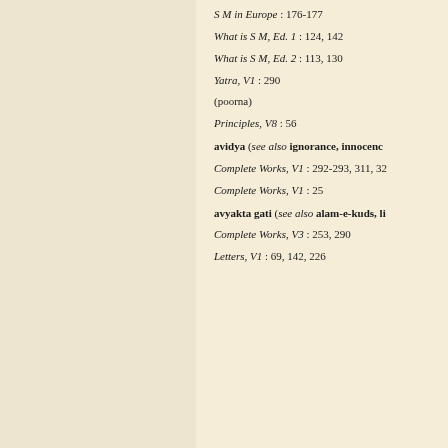S M in Europe : 176-177
What is S M, Ed. 1 : 124, 142
What is S M, Ed. 2 : 113, 130
Yatra, V1 : 290
(poorna)
Principles, V8 : 56
avidya (see also ignorance, innocenc...
Complete Works, V1 : 292-293, 311, 32...
Complete Works, V1 : 25
avyakta gati (see also alam-e-kuds, li...
Complete Works, V3 : 253, 290
Letters, V1 : 69, 142, 226